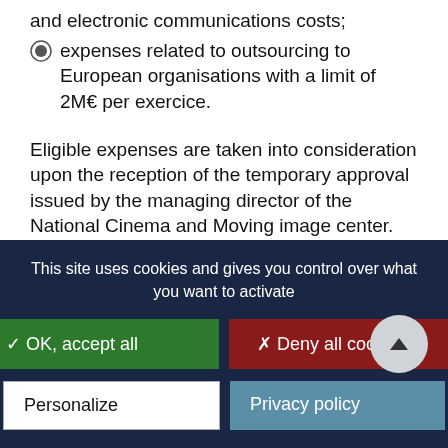and electronic communications costs;
expenses related to outsourcing to European organisations with a limit of 2M€ per exercice.
Eligible expenses are taken into consideration upon the reception of the temporary approval issued by the managing director of the National Cinema and Moving image center. This request will arrive with a folder stating the future tenants of the video game in question, as well as the company's name and a quotation for the development expenses. This approval is delivered after careful consideration by a
This site uses cookies and gives you control over what you want to activate
✓ OK, accept all
✗ Deny all cookies
Personalize
Privacy policy